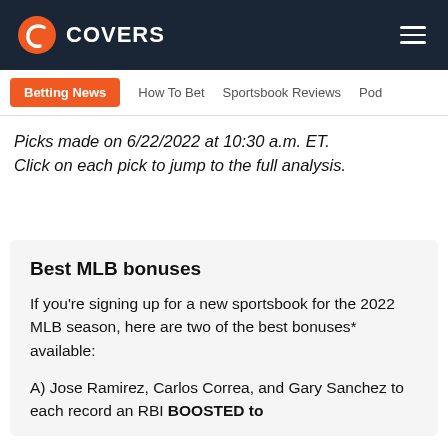COVERS
Betting News | How To Bet | Sportsbook Reviews | Pod
Picks made on 6/22/2022 at 10:30 a.m. ET. Click on each pick to jump to the full analysis.
Best MLB bonuses
If you're signing up for a new sportsbook for the 2022 MLB season, here are two of the best bonuses* available:
A) Jose Ramirez, Carlos Correa, and Gary Sanchez to each record an RBI BOOSTED to